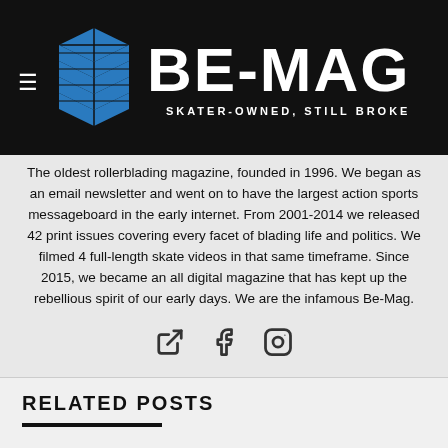[Figure (logo): BE-MAG logo with blue geometric cube icon and white text 'BE-MAG' with tagline 'SKATER-OWNED, STILL BROKE' on black background]
The oldest rollerblading magazine, founded in 1996. We began as an email newsletter and went on to have the largest action sports messageboard in the early internet. From 2001-2014 we released 42 print issues covering every facet of blading life and politics. We filmed 4 full-length skate videos in that same timeframe. Since 2015, we became an all digital magazine that has kept up the rebellious spirit of our early days. We are the infamous Be-Mag.
[Figure (illustration): Three social media icons: external link icon, Facebook icon, Instagram icon]
RELATED POSTS